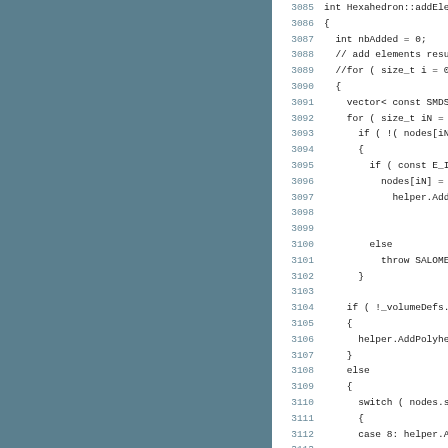[Figure (screenshot): Source code listing showing C++ function Hexahedron::addElements, lines 3085-3116, with line numbers on left and code on right. A teal/slate-colored sidebar occupies the left portion.]